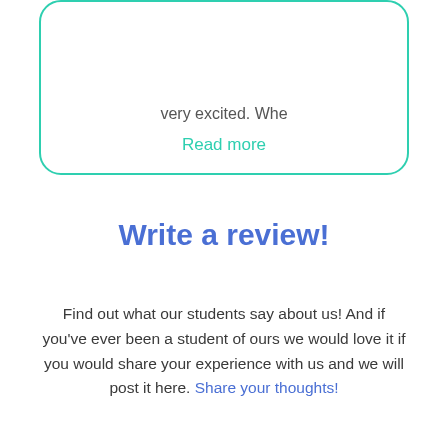very excited. Whe
Read more
Write a review!
Find out what our students say about us! And if you've ever been a student of ours we would love it if you would share your experience with us and we will post it here. Share your thoughts!